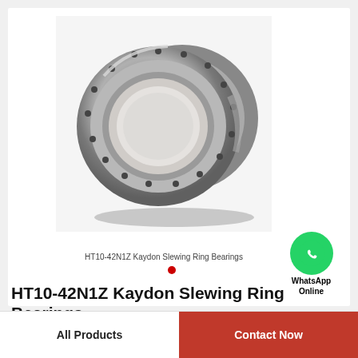[Figure (photo): HT10-42N1Z Kaydon Slewing Ring Bearing - a large metallic ring bearing with bolt holes around the circumference, shown on white background]
HT10-42N1Z Kaydon Slewing Ring Bearings
[Figure (logo): WhatsApp green circle icon with phone handset symbol, with text 'WhatsApp Online' below]
HT10-42N1Z Kaydon Slewing Ring Bearings
All Products
Contact Now